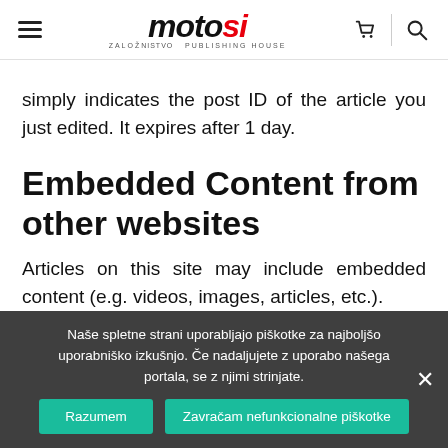motosi — ZALOZNISTVO PUBLISHING HOUSE
simply indicates the post ID of the article you just edited. It expires after 1 day.
Embedded Content from other websites
Articles on this site may include embedded content (e.g. videos, images, articles, etc.).
Naše spletne strani uporabljajo piškotke za najboljšo uporabniško izkušnjo. Če nadaljujete z uporabo našega portala, se z njimi strinjate.
has visited the other website.